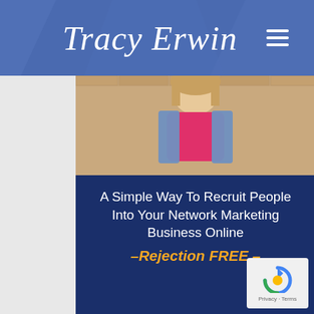[Figure (screenshot): Website header with 'Tracy Erwin' script logo on a blue background with diamond/geometric shapes, and a hamburger menu icon on the right]
[Figure (photo): Photo of a woman with long hair wearing a pink top and denim jacket, standing outdoors]
A Simple Way To Recruit People Into Your Network Marketing Business Online
–Rejection FREE –
[Figure (logo): Attraction Marketing Formula logo - gold/orange M shape above the word ATTRACTION in white bold text on dark blue background]